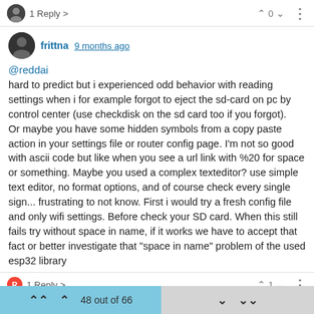1 Reply > | ^0v | :
frittna 9 months ago
@reddai
hard to predict but i experienced odd behavior with reading settings when i for example forgot to eject the sd-card on pc by control center (use checkdisk on the sd card too if you forgot).
Or maybe you have some hidden symbols from a copy paste action in your settings file or router config page. I'm not so good with ascii code but like when you see a url link with %20 for space or something. Maybe you used a complex texteditor? use simple text editor, no format options, and of course check every single sign... frustrating to not know. First i would try a fresh config file and only wifi settings. Before check your SD card. When this still fails try without space in name, if it works we have to accept that fact or better investigate that "space in name" problem of the used esp32 library
R 1 Reply > | ^1v | : | ^ ^ 48 out of 66 v vv